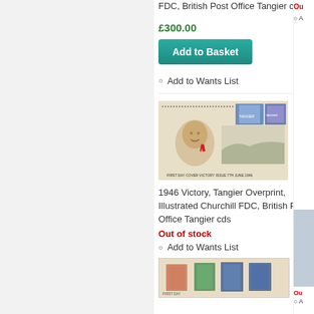FDC, British Post Office Tangier cds
£300.00
Add to Basket
Add to Wants List
[Figure (photo): First Day Cover showing Churchill illustration with blue stamps, Tangier Victory Issue 7th June 1946]
1946 Victory, Tangier Overprint, Illustrated Churchill FDC, British Post Office Tangier cds
Out of stock
Add to Wants List
Out of (stock) — partially visible right column
Add to Wants List — partially visible right column
[Figure (photo): Partially visible stamp collecting item at bottom of page]
[Figure (photo): Partially visible blue stamp item, right column bottom]